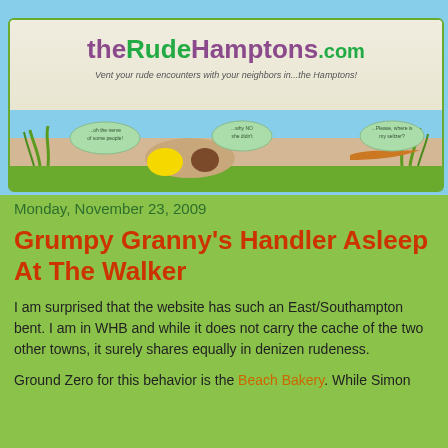[Figure (illustration): theRudeHamptons.com website banner with illustrated beach scene, grass, sand, sky, and speech bubbles. Text reads 'theRudeHamptons.com' and 'Vent your rude encounters with your neighbors in...the Hamptons!']
Monday, November 23, 2009
Grumpy Granny's Handler Asleep At The Walker
I am surprised that the website has such an East/Southampton bent.  I am in WHB and while it does not carry the cache of the two other towns, it surely shares equally in denizen rudeness.
Ground Zero for this behavior is the Beach Bakery.  While Simon